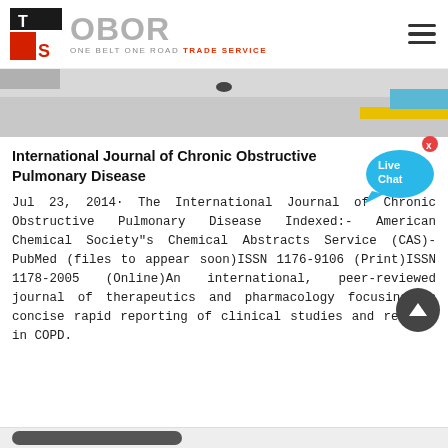[Figure (logo): OBOR (One Belt One Road Trade Service) logo with TS icon in red, black, white and grey text]
[Figure (photo): Banner photograph showing a partial outdoor scene, grey surface with yellow stripe visible]
[Figure (infographic): Live Chat speech bubble widget in blue/cyan, top right corner]
International Journal of Chronic Obstructive Pulmonary Disease
Jul 23, 2014· The International Journal of Chronic Obstructive Pulmonary Disease Indexed:- American Chemical Society"s Chemical Abstracts Service (CAS)- PubMed (files to appear soon)ISSN 1176-9106 (Print)ISSN 1178-2005 (Online)An international, peer-reviewed journal of therapeutics and pharmacology focusing on concise rapid reporting of clinical studies and reviews in COPD.